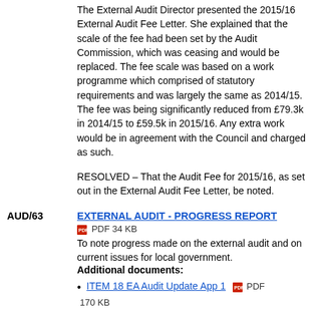The External Audit Director presented the 2015/16 External Audit Fee Letter. She explained that the scale of the fee had been set by the Audit Commission, which was ceasing and would be replaced. The fee scale was based on a work programme which comprised of statutory requirements and was largely the same as 2014/15. The fee was being significantly reduced from £79.3k in 2014/15 to £59.5k in 2015/16. Any extra work would be in agreement with the Council and charged as such.
RESOLVED – That the Audit Fee for 2015/16, as set out in the External Audit Fee Letter, be noted.
AUD/63    EXTERNAL AUDIT - PROGRESS REPORT
PDF 34 KB
To note progress made on the external audit and on current issues for local government.
Additional documents:
ITEM 18 EA Audit Update App 1   PDF 170 KB